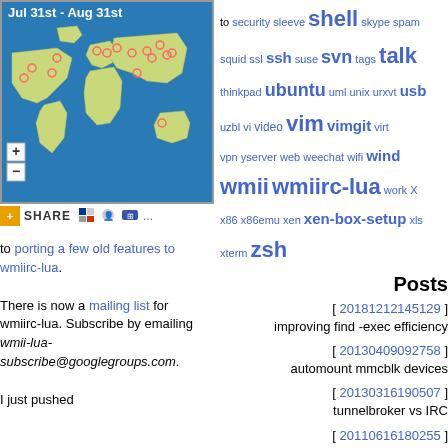[Figure (map): World map showing visitor locations from Jul 31st - Aug 31st with pink/red dots marking locations across the globe on a blue ocean background. Has zoom controls (+/-).]
SHARE [icons]
to porting a few old features to wmiirc-lua. There is now a mailing list for wmiirc-lua. Subscribe by emailing wmii-lua-subscribe@googlegroups.com. I just pushed
security sleeve shell skype spam squid ssl ssh suse svn tags talk thinkpad ubuntu uml unix urxvt usb uzbl vi video vim vimgit virt vpn yserver web weechat wifi wind wmii wmiirc-lua work X x86 x86emu xen xen-box-setup xls xterm zsh
Posts
[ 20181212145129 ] improving find -exec efficiency
[ 20130409092758 ] automount mmcblk devices
[ 20130316190507 ] tunnelbroker vs IRC
[ 20110616180255 ] HDD -> SDD
[ 20110517204617 ] how to manually create a 6in4 tunnel